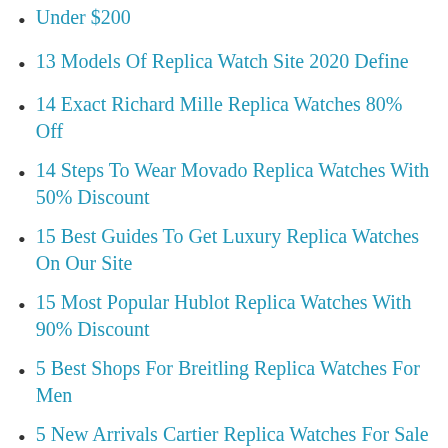Under $200
13 Models Of Replica Watch Site 2020 Define
14 Exact Richard Mille Replica Watches 80% Off
14 Steps To Wear Movado Replica Watches With 50% Discount
15 Best Guides To Get Luxury Replica Watches On Our Site
15 Most Popular Hublot Replica Watches With 90% Discount
5 Best Shops For Breitling Replica Watches For Men
5 New Arrivals Cartier Replica Watches For Sale Online
6 Extraordinary Noob Factory Replica Watches End Of The World